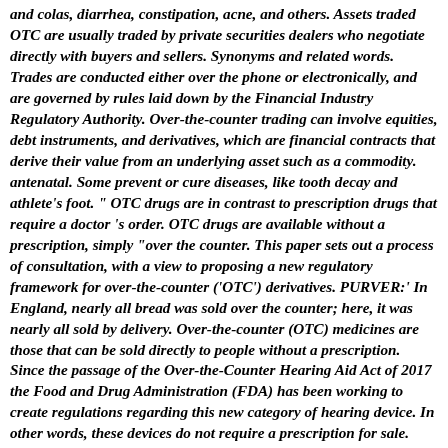and colas, diarrhea, constipation, acne, and others. Assets traded OTC are usually traded by private securities dealers who negotiate directly with buyers and sellers. Synonyms and related words. Trades are conducted either over the phone or electronically, and are governed by rules laid down by the Financial Industry Regulatory Authority. Over-the-counter trading can involve equities, debt instruments, and derivatives, which are financial contracts that derive their value from an underlying asset such as a commodity. antenatal. Some prevent or cure diseases, like tooth decay and athlete's foot. " OTC drugs are in contrast to prescription drugs that require a doctor 's order. OTC drugs are available without a prescription, simply "over the counter. This paper sets out a process of consultation, with a view to proposing a new regulatory framework for over-the-counter ('OTC') derivatives. PURVER:' In England, nearly all bread was sold over the counter; here, it was nearly all sold by delivery. Over-the-counter (OTC) medicines are those that can be sold directly to people without a prescription. Since the passage of the Over-the-Counter Hearing Aid Act of 2017 the Food and Drug Administration (FDA) has been working to create regulations regarding this new category of hearing device. In other words, these devices do not require a prescription for sale. Types of Over the Counter (OTC) Contracts. Also see: over-the-counter in Hindi In 2012, National Treasury released a discussion paper, Reducing the risks of over-the-counter derivatives in South Africa, to consult on how best to regulate the